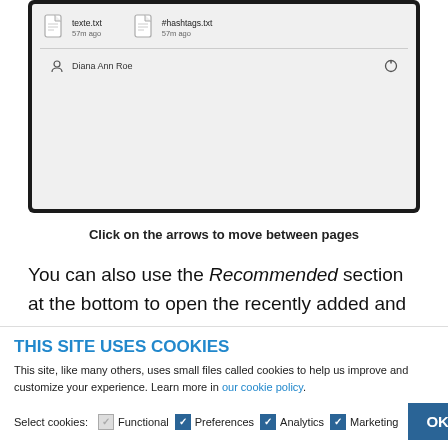[Figure (screenshot): Screenshot of a file manager interface showing two files: texte.txt (57m ago) and #hashtags.txt (57m ago), with a user row showing Diana Ann Roe and a power button icon.]
Click on the arrows to move between pages
You can also use the Recommended section at the bottom to open the recently added and most-used apps, as well as any items you accessed recently. Click or tap on the More button to see
THIS SITE USES COOKIES
This site, like many others, uses small files called cookies to help us improve and customize your experience. Learn more in our cookie policy.
Select cookies: Functional  Preferences  Analytics  Marketing  OK